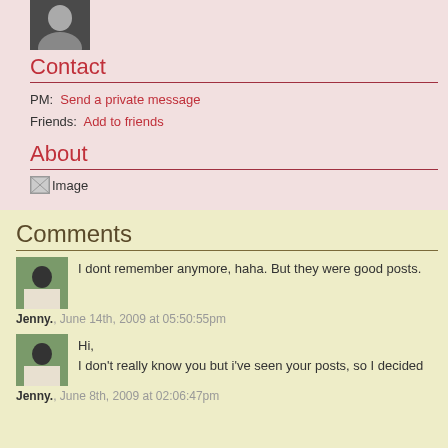[Figure (photo): Profile photo thumbnail of a person]
Contact
PM: Send a private message
Friends: Add to friends
About
[Figure (photo): Broken image placeholder labeled Image]
Comments
[Figure (photo): Avatar photo of Jenny]
I dont remember anymore, haha. But they were good posts.
Jenny., June 14th, 2009 at 05:50:55pm
[Figure (photo): Avatar photo of Jenny]
Hi,
I don't really know you but i've seen your posts, so I decided
Jenny., June 8th, 2009 at 02:06:47pm